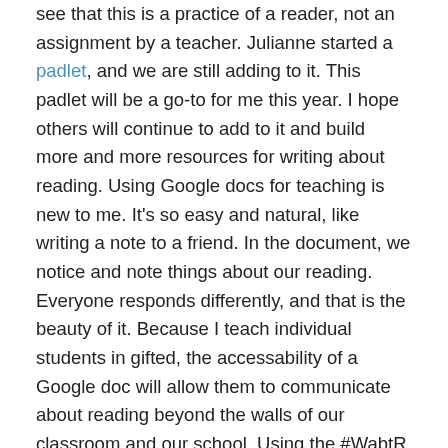see that this is a practice of a reader, not an assignment by a teacher. Julianne started a padlet, and we are still adding to it. This padlet will be a go-to for me this year. I hope others will continue to add to it and build more and more resources for writing about reading. Using Google docs for teaching is new to me. It's so easy and natural, like writing a note to a friend. In the document, we notice and note things about our reading. Everyone responds differently, and that is the beauty of it. Because I teach individual students in gifted, the accessability of a Google doc will allow them to communicate about reading beyond the walls of our classroom and our school. Using the #WabtR, we can continue the conversation and perhaps match up students book by book. The possibilities are exciting. If you are interesting in joining in on this virtual book club fun, let me know. Link up your digital literacy posts: